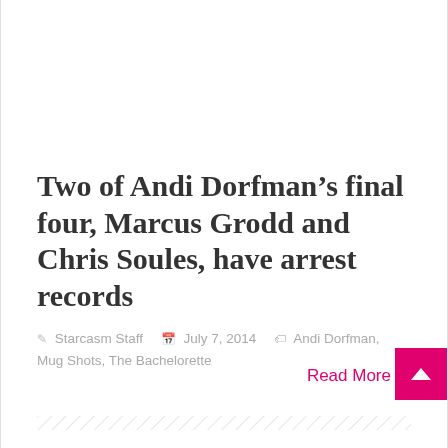Two of Andi Dorfman’s final four, Marcus Grodd and Chris Soules, have arrest records
Starcasm Staff   July 7, 2014   Andi Dorfman, Mug Shots, The Bachelorette
Read More